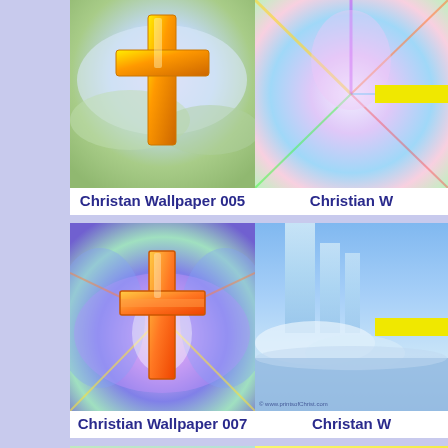[Figure (photo): Christian wallpaper image 005 - golden/orange cross on colorful cloudy background with green hills]
Christan Wallpaper 005
[Figure (photo): Christian wallpaper image 006 - colorful fractal design with rainbow rays, partially visible with yellow bar overlay]
Christian W
[Figure (photo): Christian wallpaper image 007 - orange cross on colorful fractal butterfly wing pattern]
Christian Wallpaper 007
[Figure (photo): Christian wallpaper image 008 - waterfall scene with blue sky and yellow bar overlay]
Christan W